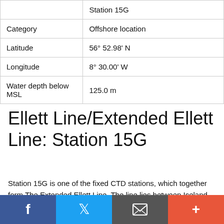|  | Station 15G |
| Category | Offshore location |
| Latitude | 56° 52.98' N |
| Longitude | 8° 30.00' W |
| Water depth below MSL | 125.0 m |
Ellett Line/Extended Ellett Line: Station 15G
Station 15G is one of the fixed CTD stations, which together form The Extended Ellett Line. The line lies between Iceland…